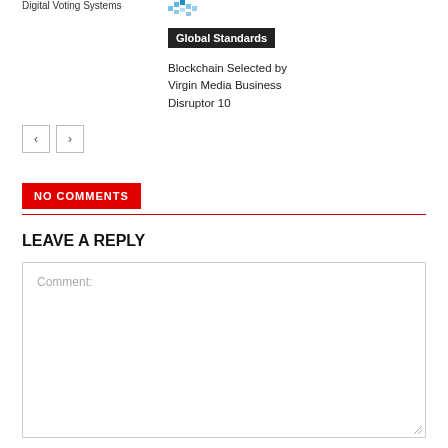Digital Voting Systems
[Figure (logo): Small blue pixelated/digital icon]
Global Standards
Blockchain Selected by Virgin Media Business Disruptor 10
< >
NO COMMENTS
LEAVE A REPLY
Comment: